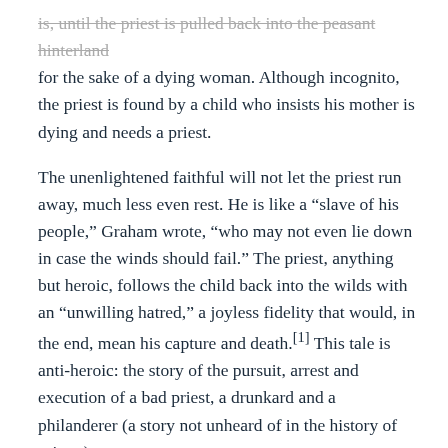is, until the priest is pulled back into the peasant hinterland for the sake of a dying woman. Although incognito, the priest is found by a child who insists his mother is dying and needs a priest.
The unenlightened faithful will not let the priest run away, much less even rest. He is like a “slave of his people,” Graham wrote, “who may not even lie down in case the winds should fail.” The priest, anything but heroic, follows the child back into the wilds with an “unwilling hatred,” a joyless fidelity that would, in the end, mean his capture and death.[1] This tale is anti-heroic: the story of the pursuit, arrest and execution of a bad priest, a drunkard and a philanderer (a story not unheard of in the history of priests).
The story comes to mind while reading James Carroll’s widely discussed essay, “Abolish the Priesthood,” featured on June’s cover of The Atlantic. It is an